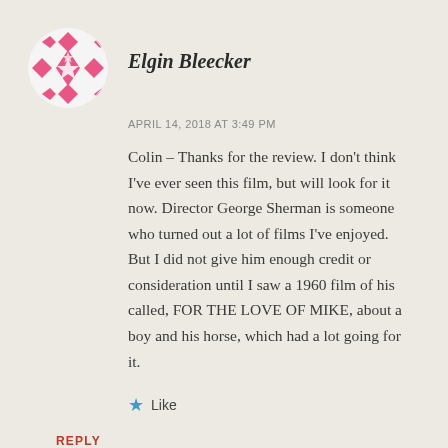[Figure (illustration): Circular avatar with pink geometric/floral pattern on white background]
Elgin Bleecker
APRIL 14, 2018 AT 3:49 PM
Colin – Thanks for the review. I don't think I've ever seen this film, but will look for it now. Director George Sherman is someone who turned out a lot of films I've enjoyed. But I did not give him enough credit or consideration until I saw a 1960 film of his called, FOR THE LOVE OF MIKE, about a boy and his horse, which had a lot going for it.
Like
REPLY